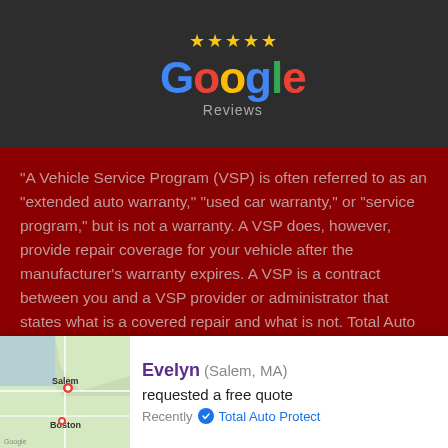[Figure (logo): Google Reviews logo with 5 gold stars above the Google wordmark and 'Reviews' text below, on dark background]
"A Vehicle Service Program (VSP) is often referred to as an "extended auto warranty," "used car warranty," or "service program," but is not a warranty. A VSP does, however, provide repair coverage for your vehicle after the manufacturer's warranty expires. A VSP is a contract between you and a VSP provider or administrator that states what is a covered repair and what is not. Total Auto Protect is an administrator of VSPs and does not sell warranties.
By entering my information and clicking "NEXT," I provide my electronic signature [1] providing my consent to be contacted by Total Auto Protect LLC. in order to receive prices...
Evelyn (Salem, MA) requested a free quote Recently ✓ Total Auto Protect